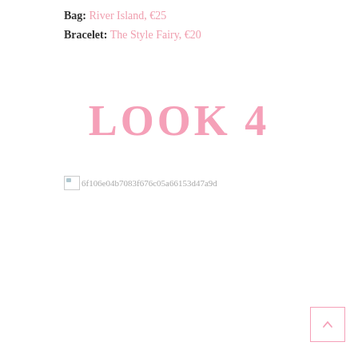Bag: River Island, €25
Bracelet: The Style Fairy, €20
LOOK 4
[Figure (photo): Broken image placeholder for a fashion photo (Look 4), image hash: 6f106e04b7083f676c05a66153d47a9d]
[Figure (other): Scroll-to-top button with upward chevron arrow, pink border]